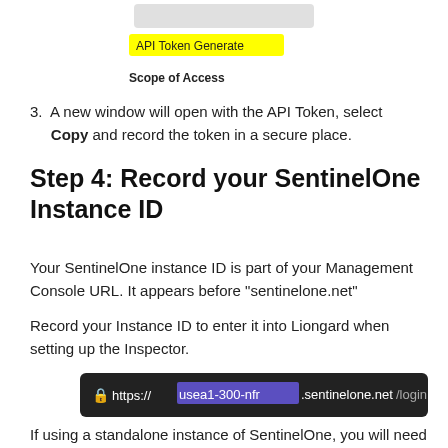[Figure (screenshot): API Token Generate button bar with yellow highlight, and Scope of Access label below]
3. A new window will open with the API Token, select Copy and record the token in a secure place.
Step 4: Record your SentinelOne Instance ID
Your SentinelOne instance ID is part of your Management Console URL. It appears before "sentinelone.net"
Record your Instance ID to enter it into Liongard when setting up the Inspector.
[Figure (screenshot): Browser URL bar showing https://usea1-300-nfr.sentinelone.net/login with usea1-300-nfr highlighted in purple]
If using a standalone instance of SentinelOne, you will need to record the entire URL including the protocol and